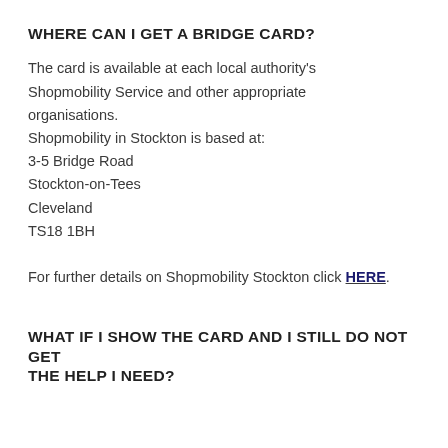WHERE CAN I GET A BRIDGE CARD?
The card is available at each local authority's Shopmobility Service and other appropriate organisations.
Shopmobility in Stockton is based at:
3-5 Bridge Road
Stockton-on-Tees
Cleveland
TS18 1BH

For further details on Shopmobility Stockton click HERE.
WHAT IF I SHOW THE CARD AND I STILL DO NOT GET THE HELP I NEED?